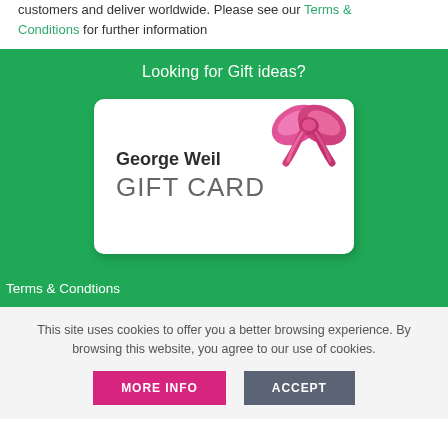customers and deliver worldwide. Please see our Terms & Conditions for further information
[Figure (illustration): George Weil Gift Card promotional banner on green background with gift card image and pink bow ribbon]
Looking for Gift ideas?
Terms & Condtions
This site uses cookies to offer you a better browsing experience. By browsing this website, you agree to our use of cookies.